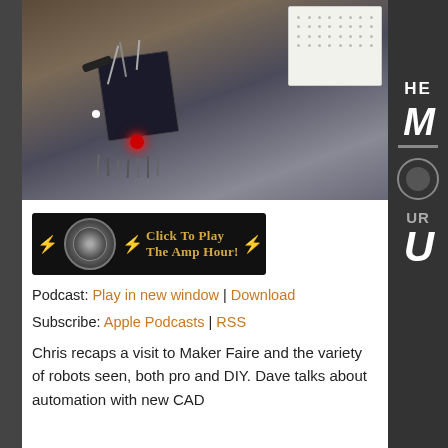[Figure (photo): Photo of an electronic circuit/microcontroller setup with wires and a red LED, sitting on a surface next to a white breadboard]
[Figure (other): Black banner for 'The Amp Hour' podcast with lightning bolt icons and a circular meter graphic. Text: 'Click To Play The Amp Hour!']
Podcast: Play in new window | Download
Subscribe: Apple Podcasts | RSS
Chris recaps a visit to Maker Faire and the variety of robots seen, both pro and DIY. Dave talks about automation with new CAD